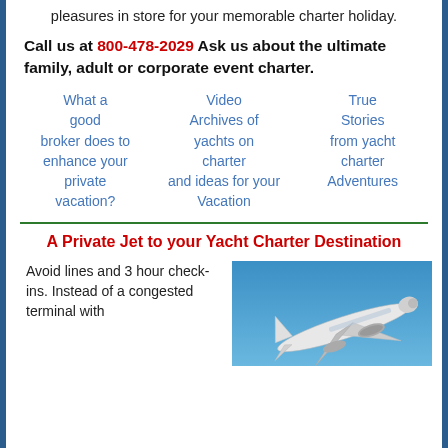pleasures in store for your memorable charter holiday.
Call us at 800-478-2029 Ask us about the ultimate family, adult or corporate event charter.
What a good broker does to enhance your private vacation?
Video Archives of yachts on charter and ideas for your Vacation
True Stories from yacht charter Adventures
A Private Jet to your Yacht Charter Destination
Avoid lines and 3 hour check-ins. Instead of a congested terminal with
[Figure (photo): Photo of a private jet airplane in flight against a blue sky background]